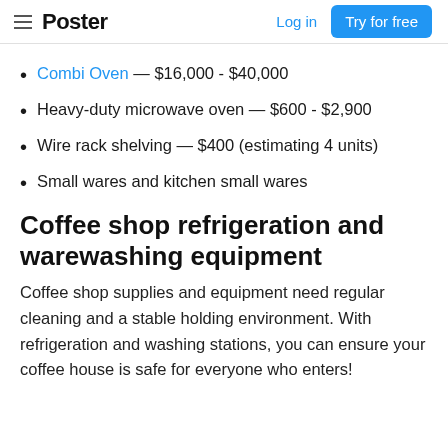Poster — Log in | Try for free
Combi Oven — $16,000 - $40,000
Heavy-duty microwave oven — $600 - $2,900
Wire rack shelving — $400 (estimating 4 units)
Small wares and kitchen small wares
Coffee shop refrigeration and warewashing equipment
Coffee shop supplies and equipment need regular cleaning and a stable holding environment. With refrigeration and washing stations, you can ensure your coffee house is safe for everyone who enters!